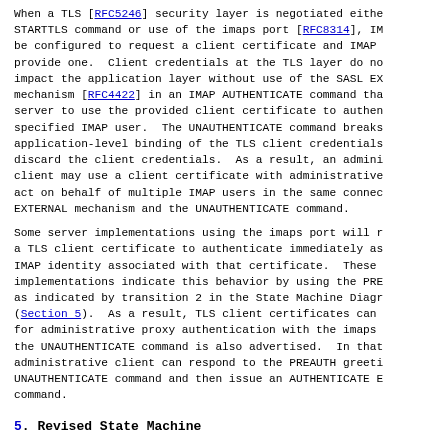When a TLS [RFC5246] security layer is negotiated either via STARTTLS command or use of the imaps port [RFC8314], IM be configured to request a client certificate and IMAP provide one.  Client credentials at the TLS layer do no impact the application layer without use of the SASL EX mechanism [RFC4422] in an IMAP AUTHENTICATE command tha server to use the provided client certificate to authen specified IMAP user.  The UNAUTHENTICATE command breaks application-level binding of the TLS client credentials discard the client credentials.  As a result, an admini client may use a client certificate with administrative act on behalf of multiple IMAP users in the same connec EXTERNAL mechanism and the UNAUTHENTICATE command.
Some server implementations using the imaps port will r a TLS client certificate to authenticate immediately as IMAP identity associated with that certificate.  These implementations indicate this behavior by using the PRE as indicated by transition 2 in the State Machine Diagr (Section 5).  As a result, TLS client certificates can for administrative proxy authentication with the imaps the UNAUTHENTICATE command is also advertised.  In that administrative client can respond to the PREAUTH greeti UNAUTHENTICATE command and then issue an AUTHENTICATE E command.
5.  Revised State Machine